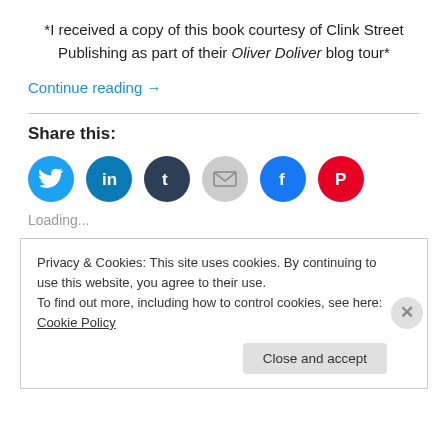*I received a copy of this book courtesy of Clink Street Publishing as part of their Oliver Doliver blog tour*
Continue reading →
Share this:
[Figure (infographic): Row of six social media share icon circles: Twitter (light blue), LinkedIn (medium blue), Tumblr (dark blue), Email (grey), Facebook (blue), Pinterest (red)]
Loading...
Privacy & Cookies: This site uses cookies. By continuing to use this website, you agree to their use. To find out more, including how to control cookies, see here: Cookie Policy